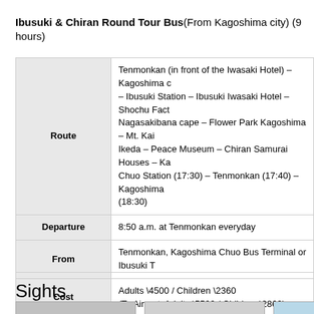Ibusuki & Chiran Round Tour Bus(From Kagoshima city) (9 hours)
|  |  |
| --- | --- |
| Route | Tenmonkan (in front of the Iwasaki Hotel) – Kagoshima – Ibusuki Station – Ibusuki Iwasaki Hotel – Shochu Factory – Nagasakibana cape – Flower Park Kagoshima – Mt. Kai Ikeda – Peace Museum – Chiran Samurai Houses – Kagoshima Chuo Station (17:30) – Tenmonkan (17:40) – Kagoshima (18:30) |
| Departure | 8:50 a.m. at Tenmonkan everyday |
| From | Tenmonkan, Kagoshima Chuo Bus Terminal or Ibusuki T |
| Cost | Adults \4500 / Children \2360
(To Airport: Adults \5500 / Children \2860) |
| Info | Tourist Information Center / 099-253-2500
Kagoshima Kotsu / 099-247-2333 |
Sights
[Figure (photo): Photo 1 - temple or shrine building with red facade]
[Figure (photo): Photo 2 - gray placeholder]
[Figure (photo): Photo 3 - blue sky partial image]